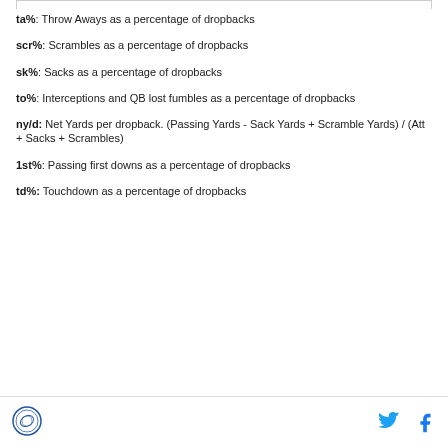ta%: Throw Aways as a percentage of dropbacks
scr%: Scrambles as a percentage of dropbacks
sk%: Sacks as a percentage of dropbacks
to%: Interceptions and QB lost fumbles as a percentage of dropbacks
ny/d: Net Yards per dropback. (Passing Yards - Sack Yards + Scramble Yards) / (Att + Sacks + Scrambles)
1st%: Passing first downs as a percentage of dropbacks
td%: Touchdown as a percentage of dropbacks
footer with logo and social icons